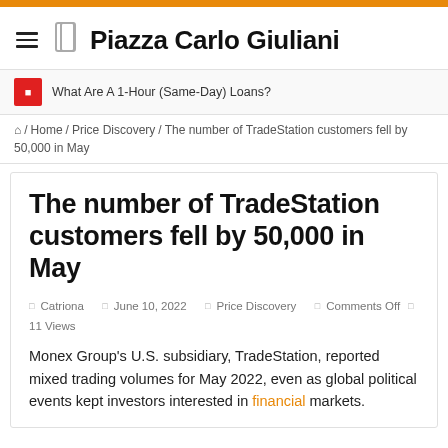Piazza Carlo Giuliani
What Are A 1-Hour (Same-Day) Loans?
🏠 Home / Price Discovery / The number of TradeStation customers fell by 50,000 in May
The number of TradeStation customers fell by 50,000 in May
Catriona  June 10, 2022  Price Discovery  Comments Off  11 Views
Monex Group's U.S. subsidiary, TradeStation, reported mixed trading volumes for May 2022, even as global political events kept investors interested in financial markets.